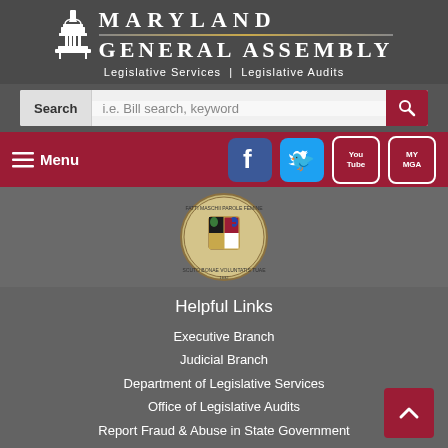[Figure (logo): Maryland General Assembly logo with capitol building icon and text]
Legislative Services | Legislative Audits
Search  i.e. Bill search, keyword
≡ Menu
[Figure (logo): Social media icons: Facebook, Twitter, YouTube, MyMGA]
[Figure (illustration): Maryland state seal]
Helpful Links
Executive Branch
Judicial Branch
Department of Legislative Services
Office of Legislative Audits
Report Fraud & Abuse in State Government